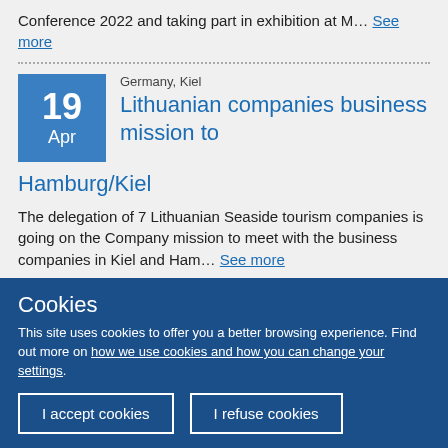Conference 2022 and taking part in exhibition at M… See more
Germany, Kiel
Lithuanian companies business mission to Hamburg/Kiel
The delegation of 7 Lithuanian Seaside tourism companies is going on the Company mission to meet with the business companies in Kiel and Ham… See more
Cookies
This site uses cookies to offer you a better browsing experience. Find out more on how we use cookies and how you can change your settings.
I accept cookies
I refuse cookies